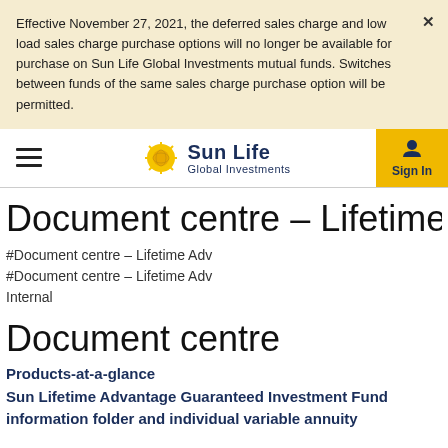Effective November 27, 2021, the deferred sales charge and low load sales charge purchase options will no longer be available for purchase on Sun Life Global Investments mutual funds. Switches between funds of the same sales charge purchase option will be permitted.
[Figure (logo): Sun Life Global Investments navigation bar with hamburger menu, Sun Life Global Investments logo (sun icon + wordmark), and Sign In button]
Document centre – Lifetime Adv
#Document centre – Lifetime Adv
#Document centre – Lifetime Adv
Internal
Document centre
Products-at-a-glance
Sun Lifetime Advantage Guaranteed Investment Fund information folder and individual variable annuity